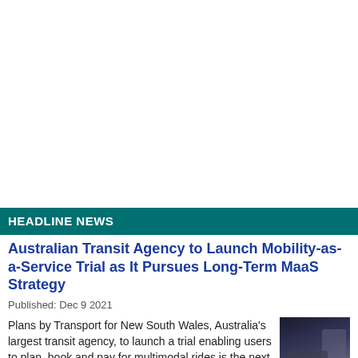HEADLINE NEWS
Australian Transit Agency to Launch Mobility-as-a-Service Trial as It Pursues Long-Term MaaS Strategy
Published: Dec 9 2021
Plans by Transport for New South Wales, Australia's largest transit agency, to launch a trial enabling users to plan, book and pay for multimodal rides is the next step toward the agency's long-ter
[Figure (photo): Dark indoor transit scene showing a person at a counter or ticketing area]